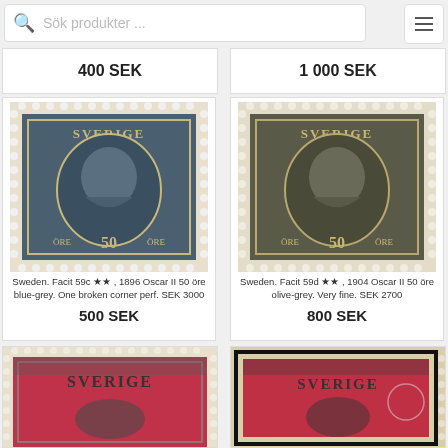Sök produkter ...
400 SEK
1 000 SEK
[Figure (photo): Swedish postage stamp, Sweden Facit 59c, 1896 Oscar II 50 öre blue-grey with perforated edges]
Sweden. Facit 59c ★★, 1896 Oscar II 50 öre blue-grey. One broken corner perf. SEK 3000
500 SEK
[Figure (photo): Swedish postage stamp, Sweden Facit 59d, 1904 Oscar II 50 öre olive-grey with perforated edges]
Sweden. Facit 59d ★★, 1904 Oscar II 50 öre olive-grey. Very fine. SEK 2700
800 SEK
[Figure (photo): Partial view of Swedish stamp with red and grey color, Sverige text visible]
[Figure (photo): Partial view of Swedish stamp with black border and red color, Sverige text visible]